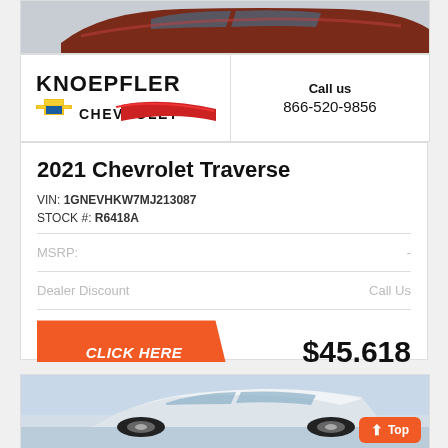[Figure (photo): Partial view of a dark red/maroon SUV car from the front/side, cropped at top of page]
[Figure (logo): Knoepfler Chevrolet dealer logo with Chevy bowtie emblem and red swoosh graphic]
Call us
866-520-9856
2021 Chevrolet Traverse
VIN: 1GNEVHKW7MJ213087
STOCK #: R6418A
MSRP:
Dealer Discount
Call Us
CLICK HERE
$45,618
[Figure (photo): Partial view of a white/silver SUV, bottom of page, with orange Top button overlay]